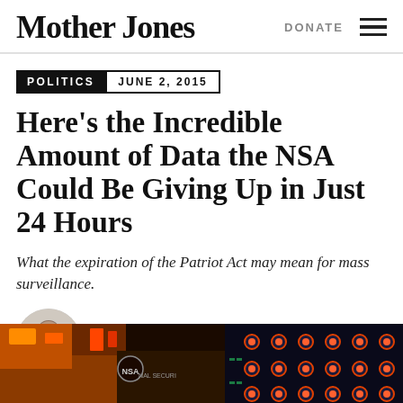Mother Jones | DONATE
POLITICS  JUNE 2, 2015
Here’s the Incredible Amount of Data the NSA Could Be Giving Up in Just 24 Hours
What the expiration of the Patriot Act may mean for mass surveillance.
JOSH HARKINSON
Bio | Follow
[Figure (photo): Close-up photo of electronic circuit board components with NSA (National Security Agency) logo visible]